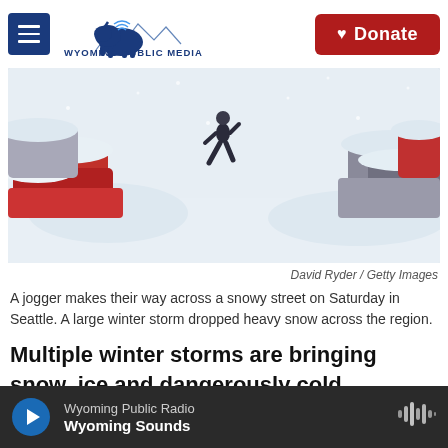[Figure (logo): Wyoming Public Media logo with bison and mountain skyline, hamburger menu icon on left, Donate button on right]
[Figure (photo): A jogger crosses a snowy, blizzard-covered street with cars buried in snow on both sides in Seattle]
David Ryder / Getty Images
A jogger makes their way across a snowy street on Saturday in Seattle. A large winter storm dropped heavy snow across the region.
Multiple winter storms are bringing snow, ice and dangerously cold temperatures to many parts of the country over the long holiday weekend.
[Figure (infographic): Wyoming Public Radio audio player bar at bottom: play button, Wyoming Public Radio label, Wyoming Sounds show title, waveform icon]